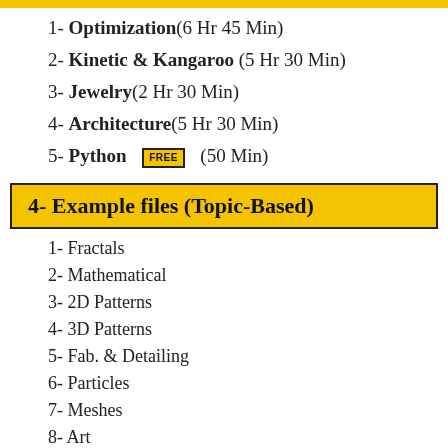1- Optimization (6 Hr 45 Min)
2- Kinetic & Kangaroo (5 Hr 30 Min)
3- Jewelry (2 Hr 30 Min)
4- Architecture (5 Hr 30 Min)
5- Python FREE (50 Min)
4- Example files (Topic-Based)
1- Fractals
2- Mathematical
3- 2D Patterns
4- 3D Patterns
5- Fab. & Detailing
6- Particles
7- Meshes
8- Art